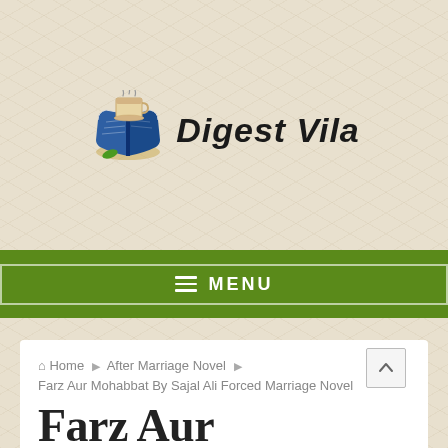[Figure (logo): Digest Vila logo with book and coffee cup icon]
≡ MENU
Home › After Marriage Novel › Farz Aur Mohabbat By Sajal Ali Forced Marriage Novel
Farz Aur Mohabbat By Sajal Ali Forced Marriage Novel